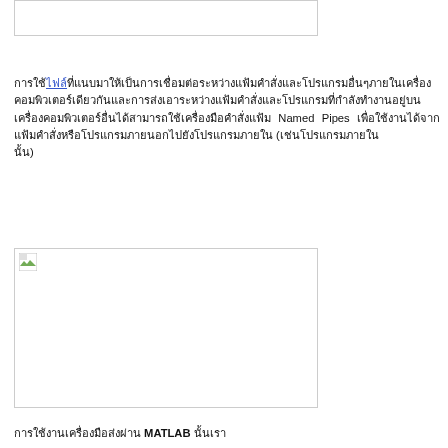[Figure (other): Top bordered image/figure placeholder box]
Thai language paragraph text with a hyperlink, describing content related to MATLAB or similar technical software.
[Figure (other): Bottom bordered image/figure placeholder box with broken image icon in top-left corner]
Thai language text continuing description related to MATLAB.